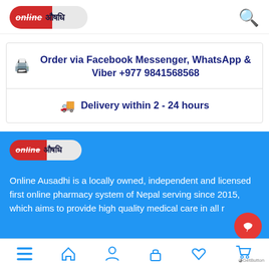[Figure (logo): Online Ausadhi logo: red-and-grey pill shape with 'online' in white italic strikethrough text on red side and Nepali text on grey side]
Order via Facebook Messenger, WhatsApp & Viber +977 9841568568
Delivery within 2 - 24 hours
[Figure (logo): Online Ausadhi logo repeated in blue section]
Online Ausadhi is a locally owned, independent and licensed first online pharmacy system of Nepal serving since 2015, which aims to provide high quality medical care in all r